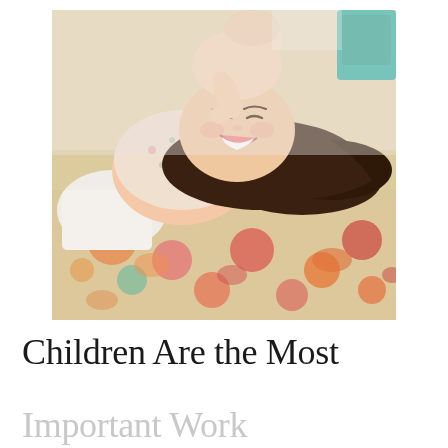[Figure (photo): A woman lying on a colorful patterned rug (pink, orange, cream, teal tones), laughing joyfully with her head tilted back. A baby or young child is climbing on her, pressing against her face. The woman is wearing a floral top and white pants. A teal chair is partially visible in the upper right background.]
Children Are the Most
Important Work